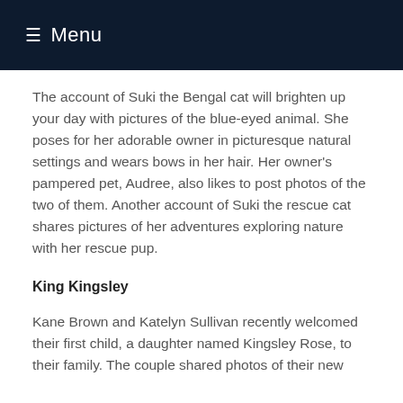≡ Menu
The account of Suki the Bengal cat will brighten up your day with pictures of the blue-eyed animal. She poses for her adorable owner in picturesque natural settings and wears bows in her hair. Her owner's pampered pet, Audree, also likes to post photos of the two of them. Another account of Suki the rescue cat shares pictures of her adventures exploring nature with her rescue pup.
King Kingsley
Kane Brown and Katelyn Sullivan recently welcomed their first child, a daughter named Kingsley Rose, to their family. The couple shared photos of their new